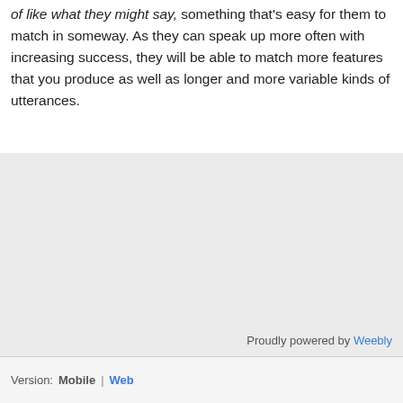of like what they might say, something that's easy for them to match in someway. As they can speak up more often with increasing success, they will be able to match more features that you produce as well as longer and more variable kinds of utterances.
Proudly powered by Weebly
Version: Mobile | Web